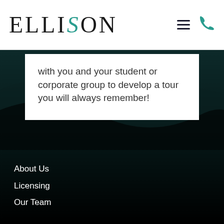[Figure (logo): Ellison company logo with teal stylized S letter in the middle of the word ELLISON in serif font, followed by hamburger menu icon and teal phone icon]
with you and your student or corporate group to develop a tour you will always remember!
About Us
Licensing
Our Team